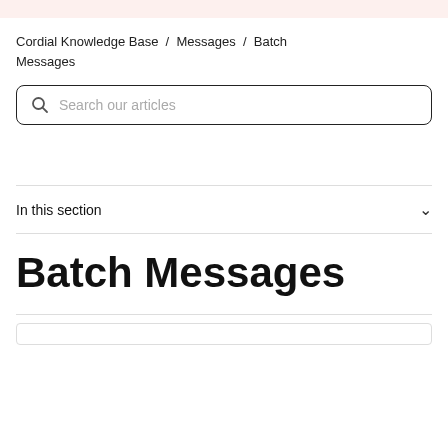Cordial Knowledge Base / Messages / Batch Messages
Search our articles
In this section
Batch Messages